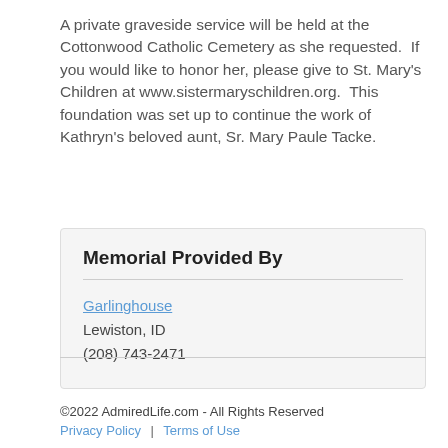A private graveside service will be held at the Cottonwood Catholic Cemetery as she requested.  If you would like to honor her, please give to St. Mary's Children at www.sistermaryschildren.org.  This foundation was set up to continue the work of Kathryn's beloved aunt, Sr. Mary Paule Tacke.
Memorial Provided By
Garlinghouse
Lewiston, ID
(208) 743-2471
©2022 AdmiredLife.com - All Rights Reserved
Privacy Policy  |  Terms of Use